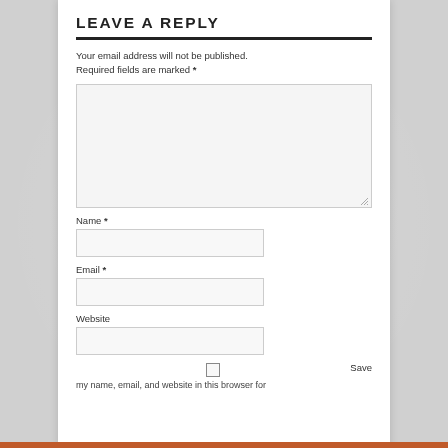LEAVE A REPLY
Your email address will not be published. Required fields are marked *
[Figure (other): Large comment textarea input box, empty, with resize handle in bottom-right corner]
Name *
[Figure (other): Name input field, single-line text box]
Email *
[Figure (other): Email input field, single-line text box]
Website
[Figure (other): Website input field, single-line text box]
Save my name, email, and website in this browser for